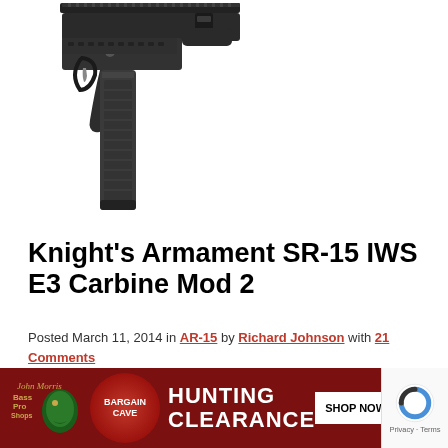[Figure (photo): Photo of Knight's Armament SR-15 IWS E3 Carbine Mod 2 rifle, showing the lower receiver, grip, trigger, magazine, and partial upper receiver with handguard against a white background.]
Knight’s Armament SR-15 IWS E3 Carbine Mod 2
Posted March 11, 2014 in AR-15 by Richard Johnson with 21 Comments
Knight’s Armament (KAC) is now making a second version of the company’s SR-15 IWS carbine. According to KAC, the Mod 2 has a number of new features including: a URX4 hand guard with Keymod accessory mounting points. KAC states the URX4 keeps the barrel [Read More...]
[Figure (illustration): Bass Pro Shops advertisement banner: red background with Bass Pro Shops logo, Bargain Cave circular badge, text HUNTING CLEARANCE, and SHOP NOW button.]